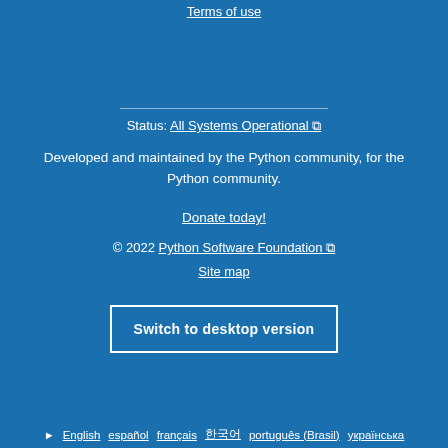Terms of use
Status: All Systems Operational ↗
Developed and maintained by the Python community, for the Python community.
Donate today!
© 2022 Python Software Foundation ↗
Site map
Switch to desktop version
English  español  français  한국어  português (Brasil)  українська